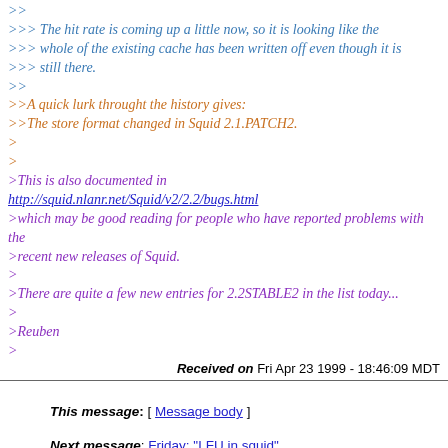>> 
>>> The hit rate is coming up a little now, so it is looking like the >>> whole of the existing cache has been written off even though it is >>> still there.
>>
>>A quick lurk throught the history gives:
>>The store format changed in Squid 2.1.PATCH2.
>
>
>This is also documented in http://squid.nlanr.net/Squid/v2/2.2/bugs.html
>which may be good reading for people who have reported problems with the
>recent new releases of Squid.
>
>There are quite a few new entries for 2.2STABLE2 in the list today...
>
>Reuben
>
Received on Fri Apr 23 1999 - 18:46:09 MDT
This message: [ Message body ]
Next message: Friday: "LFU in squid"